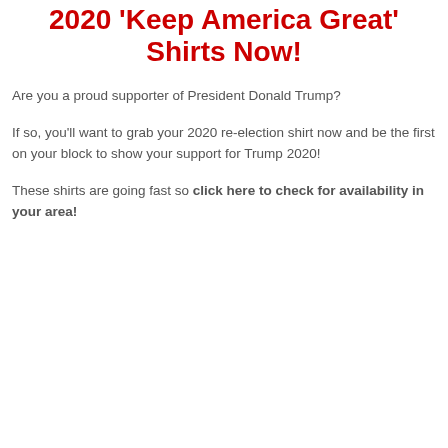2020 'Keep America Great' Shirts Now!
Are you a proud supporter of President Donald Trump?
If so, you'll want to grab your 2020 re-election shirt now and be the first on your block to show your support for Trump 2020!
These shirts are going fast so click here to check for availability in your area!